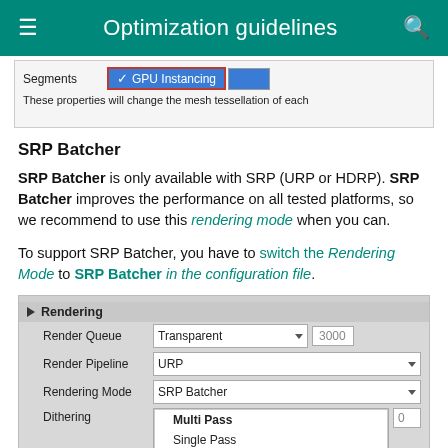Optimization guidelines
[Figure (screenshot): UI screenshot showing Segments row with GPU Instancing checkbox selected and text: These properties will change the mesh tessellation of each]
SRP Batcher
SRP Batcher is only available with SRP (URP or HDRP). SRP Batcher improves the performance on all tested platforms, so we recommend to use this rendering mode when you can.
To support SRP Batcher, you have to switch the Rendering Mode to SRP Batcher in the configuration file.
[Figure (screenshot): Unity editor Rendering section screenshot showing: Render Queue: Transparent 3000, Render Pipeline: URP, Rendering Mode: SRP Batcher, Dithering row with dropdown open showing Multi Pass and Single Pass options. Below is Shared Mesh section header.]